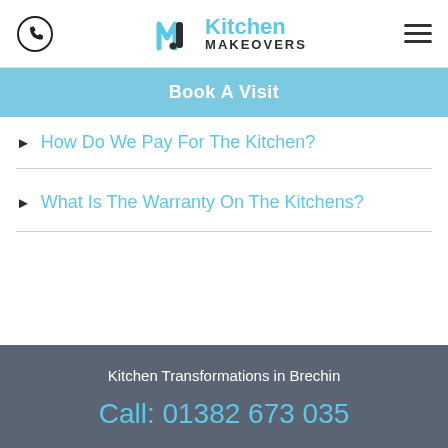[Figure (logo): Kitchen Makeovers logo with stylized M icon in dark and blue, phone icon on left, hamburger menu on right]
Book A Visit
How Do We Pay For The Kitchen?
What Is The Warranty On The Kitchens?
Kitchen Transformations in Brechin
Call: 01382 673 035